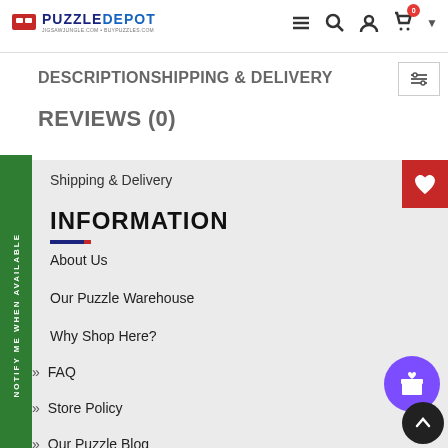PuzzleDepot
DESCRIPTIONSHIPPING & DELIVERY
REVIEWS (0)
Shipping & Delivery
INFORMATION
About Us
Our Puzzle Warehouse
Why Shop Here?
» FAQ
» Store Policy
» Our Puzzle Blog
NOTIFY ME WHEN AVAILABLE